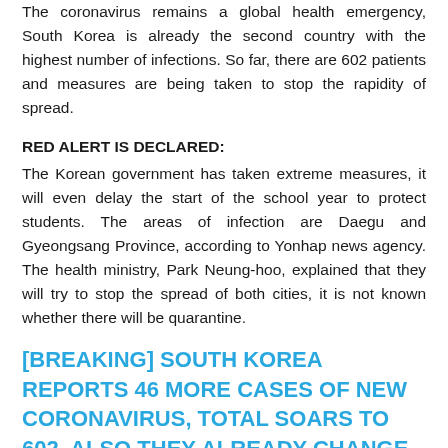The coronavirus remains a global health emergency, South Korea is already the second country with the highest number of infections. So far, there are 602 patients and measures are being taken to stop the rapidity of spread.
RED ALERT IS DECLARED:
The Korean government has taken extreme measures, it will even delay the start of the school year to protect students. The areas of infection are Daegu and Gyeongsang Province, according to Yonhap news agency. The health ministry, Park Neung-hoo, explained that they will try to stop the spread of both cities, it is not known whether there will be quarantine.
[BREAKING] SOUTH KOREA REPORTS 46 MORE CASES OF NEW CORONAVIRUS, TOTAL SOARS TO 602. ALSO THEY ALREADY CHANGE TO